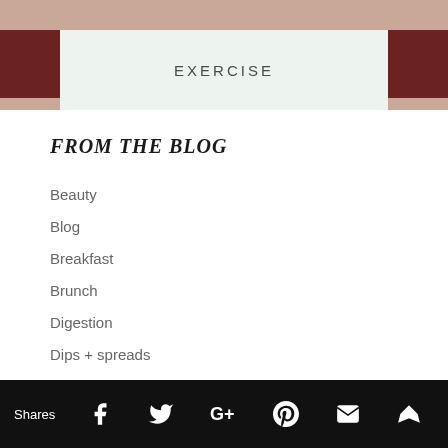[Figure (photo): Top portion of a blog page showing a hero image with a pale beige/skin-tone background and dark brown/maroon accent blocks on the sides, with a light green-tinted banner in the center displaying the word EXERCISE]
FROM THE BLOG
Beauty
Blog
Breakfast
Brunch
Digestion
Dips + spreads
Drinks
Energy
Exercise
Shares  [Facebook] [Twitter] [Google+] [Pinterest] [Email] [Crown]